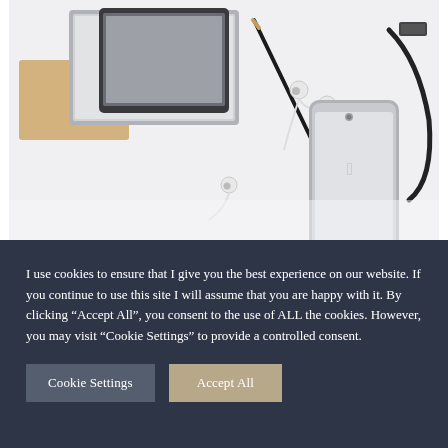[Figure (photo): Overhead view of a desk with gadgets: tablet, laptop, smartphone (Apple iPhone), earphones, stylus pen, notebook, and cable on a light gray/white background.]
How to deal with customers who don't invest
Is there anything more annoying than when you find yourself stuck in that zone of clients just not
I use cookies to ensure that I give you the best experience on our website. If you continue to use this site I will assume that you are happy with it. By clicking “Accept All”, you consent to the use of ALL the cookies. However, you may visit "Cookie Settings" to provide a controlled consent.